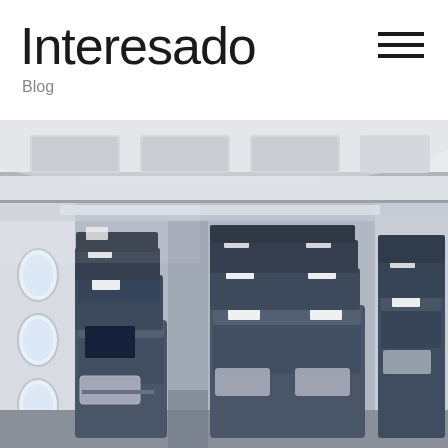Interesado
Blog
[Figure (photo): Interior of an airplane business/premium class cabin showing rows of dark blue/grey recliner seats with white headrest covers and pillows, photographed from the aisle looking toward the back of the plane. The cabin has white overhead bins and windows visible on the left side.]